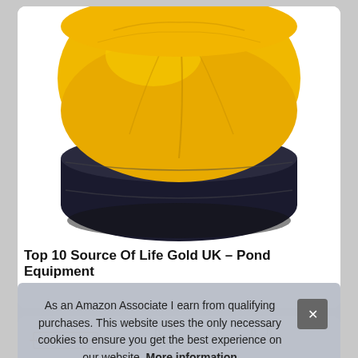[Figure (photo): Yellow and black leather bean bag chair, bottom portion visible, on white background]
Top 10 Source Of Life Gold UK – Pond Equipment
[Figure (screenshot): Partially visible product listing row with jewelry/hardware items on white background]
As an Amazon Associate I earn from qualifying purchases. This website uses the only necessary cookies to ensure you get the best experience on our website. More information